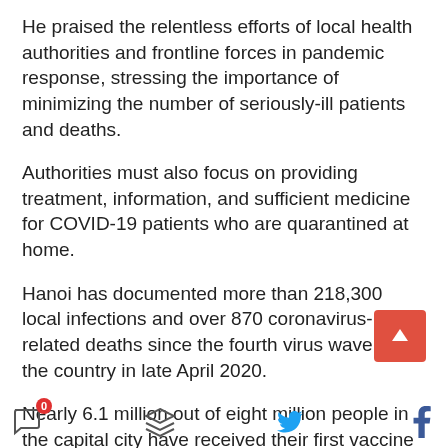He praised the relentless efforts of local health authorities and frontline forces in pandemic response, stressing the importance of minimizing the number of seriously-ill patients and deaths.
Authorities must also focus on providing treatment, information, and sufficient medicine for COVID-19 patients who are quarantined at home.
Hanoi has documented more than 218,300 local infections and over 870 coronavirus-related deaths since the fourth virus wave hit the country in late April 2020.
Nearly 6.1 million out of eight million people in the capital city have received their first vaccine dose, while about 6.2 million have been jabbed twice, according to the national COVID-19 vaccination portal.
[Figure (other): Social sharing icons row: comment icon with red badge showing 0, layers/stack icon, Twitter bird icon, Facebook f icon. Also a red scroll-to-top button with up arrow.]